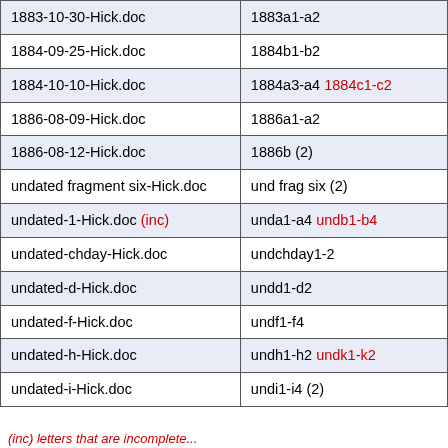| 1883-10-30-Hick.doc | 1883a1-a2 |
| 1884-09-25-Hick.doc | 1884b1-b2 |
| 1884-10-10-Hick.doc | 1884a3-a4 1884c1-c2 |
| 1886-08-09-Hick.doc | 1886a1-a2 |
| 1886-08-12-Hick.doc | 1886b (2) |
| undated fragment six-Hick.doc | und frag six (2) |
| undated-1-Hick.doc (inc) | unda1-a4 undb1-b4 |
| undated-chday-Hick.doc | undchday1-2 |
| undated-d-Hick.doc | undd1-d2 |
| undated-f-Hick.doc | undf1-f4 |
| undated-h-Hick.doc | undh1-h2 undk1-k2 |
| undated-i-Hick.doc | undi1-i4 (2) |
(inc) letters that are incomplete...